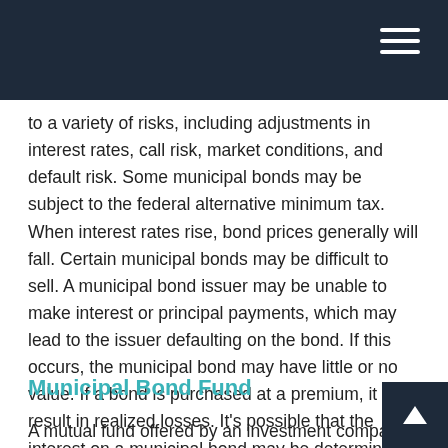to a variety of risks, including adjustments in interest rates, call risk, market conditions, and default risk. Some municipal bonds may be subject to the federal alternative minimum tax. When interest rates rise, bond prices generally will fall. Certain municipal bonds may be difficult to sell. A municipal bond issuer may be unable to make interest or principal payments, which may lead to the issuer defaulting on the bond. If this occurs, the municipal bond may have little or no value. If a bond is purchased at a premium, it may result in realized losses. It's possible that the interest on a municipal bond may be determined to be taxable after purchase.
Municipal Bond Fund
A mutual fund offered by an investment company which specifically invests in municipal bonds. Mutual